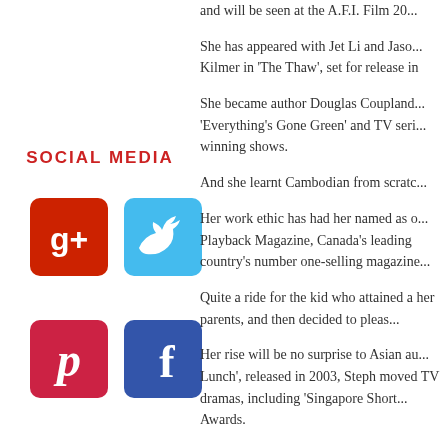and will be seen at the A.F.I. Film 20...
She has appeared with Jet Li and Jason Kilmer in 'The Thaw', set for release in
SOCIAL MEDIA
[Figure (logo): Google+ icon - red square with rounded corners and g+ symbol]
[Figure (logo): Twitter icon - blue square with rounded corners and bird symbol]
[Figure (logo): Pinterest icon - red square with rounded corners and P symbol]
[Figure (logo): Facebook icon - blue square with rounded corners and f symbol]
She became author Douglas Coupland's 'Everything's Gone Green' and TV series winning shows.
And she learnt Cambodian from scratc...
Her work ethic has had her named as one by Playback Magazine, Canada's leading country's number one-selling magazine.
Quite a ride for the kid who attained a her parents, and then decided to pleas...
Her rise will be no surprise to Asian au... Lunch', released in 2003, Steph moved TV dramas, including 'Singapore Short... Awards.
In 2003, Steph set a new standard with breakout comedy of the year and went... International Television Festival 2005 b... broadcast in 10 countries, including Au...
Knowing how hard it is to find and nurt...